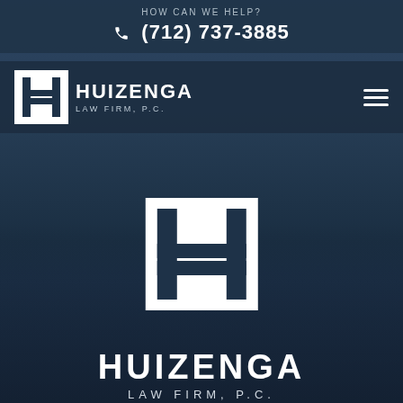HOW CAN WE HELP?
(712) 737-3885
[Figure (logo): Huizenga Law Firm, P.C. logo — small version in navigation bar, white square with stylized H lettermark, text HUIZENGA LAW FIRM, P.C.]
[Figure (logo): Huizenga Law Firm, P.C. large center logo — white square with stylized H lettermark, text HUIZENGA LAW FIRM, P.C. in white on dark blue background]